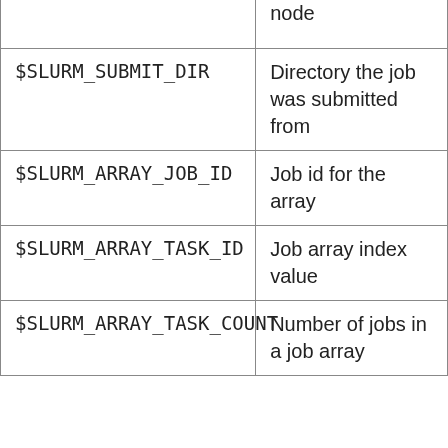| Variable | Description |
| --- | --- |
|  | node |
| $SLURM_SUBMIT_DIR | Directory the job was submitted from |
| $SLURM_ARRAY_JOB_ID | Job id for the array |
| $SLURM_ARRAY_TASK_ID | Job array index value |
| $SLURM_ARRAY_TASK_COUNT | Number of jobs in a job array |